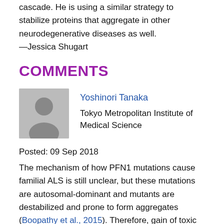cascade. He is using a similar strategy to stabilize proteins that aggregate in other neurodegenerative diseases as well.
—Jessica Shugart
COMMENTS
[Figure (illustration): Avatar placeholder icon showing a person silhouette on grey background]
Yoshinori Tanaka
Tokyo Metropolitan Institute of Medical Science
Posted: 09 Sep 2018
The mechanism of how PFN1 mutations cause familial ALS is still unclear, but these mutations are autosomal-dominant and mutants are destabilized and prone to form aggregates (Boopathy et al., 2015). Therefore, gain of toxic function of mutant PFN1 would at least partially contribute to the onset or progress of the disease. In fact, we previously showed the toxicity of PFN1 mutants in